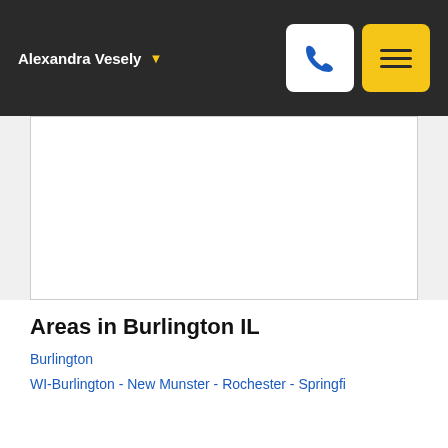Alexandra Vesely
[Figure (map): A map area showing Burlington IL region, displayed as a white/light-colored map panel with border]
Areas in Burlington IL
Burlington
WI-Burlington - New Munster - Rochester - Springfi